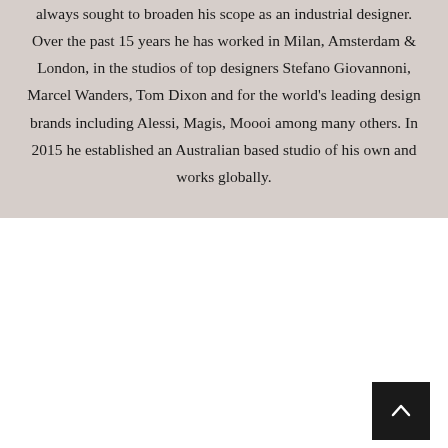always sought to broaden his scope as an industrial designer. Over the past 15 years he has worked in Milan, Amsterdam & London, in the studios of top designers Stefano Giovannoni, Marcel Wanders, Tom Dixon and for the world's leading design brands including Alessi, Magis, Moooi among many others. In 2015 he established an Australian based studio of his own and works globally.